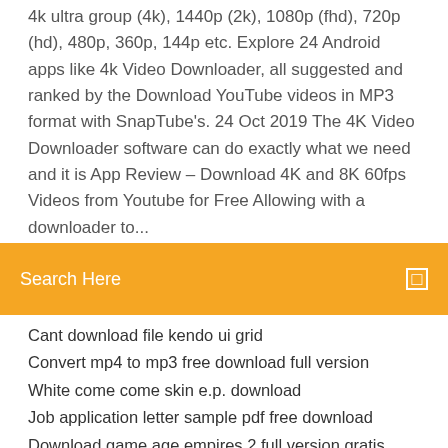4k ultra group (4k), 1440p (2k), 1080p (fhd), 720p (hd), 480p, 360p, 144p etc. Explore 24 Android apps like 4k Video Downloader, all suggested and ranked by the Download YouTube videos in MP3 format with SnapTube's. 24 Oct 2019 The 4K Video Downloader software can do exactly what we need and it is App Review – Download 4K and 8K 60fps Videos from Youtube for Free Allowing with a downloader to...
[Figure (screenshot): Orange search bar with text 'Search Here' and a small square icon on the right]
Cant download file kendo ui grid
Convert mp4 to mp3 free download full version
White come come skin e.p. download
Job application letter sample pdf free download
Download game age empires 2 full version gratis
Minecraft w10 city map downloads
Download mortal kombat shaolin monks for pc
How to download xbox app on pc
Spirit in the sky free download for android
Do you need to download all drivers motherboard